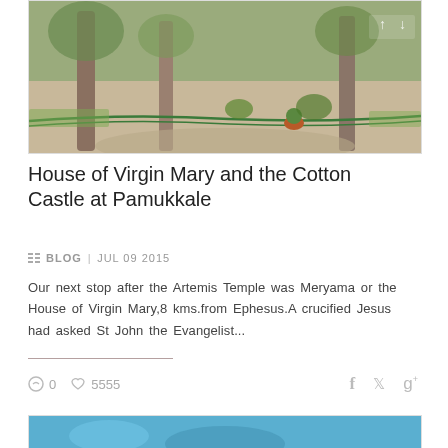[Figure (photo): Outdoor garden/courtyard scene with trees, a pathway, green fence/railing, potted plant, and dappled sunlight — likely grounds of a historic site.]
House of Virgin Mary and the Cotton Castle at Pamukkale
BLOG  |  JUL 09 2015
Our next stop after the Artemis Temple was Meryama or the House of Virgin Mary,8 kms.from Ephesus.A crucified Jesus had asked St John the Evangelist...
[Figure (photo): Partial view of a second blog card with a blue/turquoise background, partially visible at the bottom.]